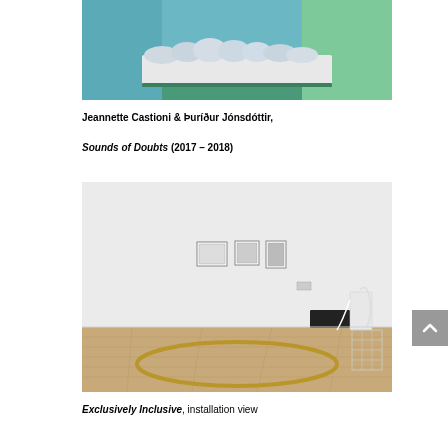[Figure (photo): Installation photo showing a white platform with pillow-like sculptural forms on top, illuminated with teal and green ambient light in a gallery room.]
Jeannette Castioni & Þuríður Jónsdóttir,
Sounds of Doubts (2017 – 2018)
[Figure (photo): Gallery installation view showing three small framed works mounted on a white wall, with equipment and a large gold/brass ring lying flat on a wooden floor in the foreground.]
Exclusively Inclusive, installation view